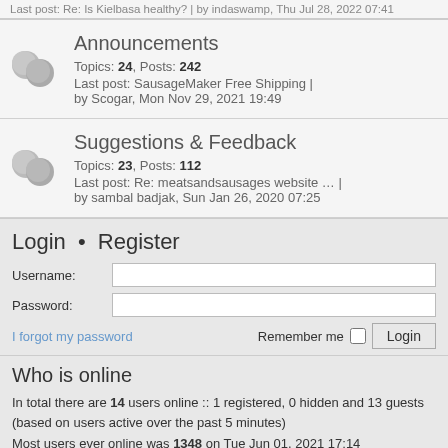Last post: Re: Is Kielbasa healthy? | by indaswamp, Thu Jul 28, 2022 07:41
Announcements
Topics: 24, Posts: 242
Last post: SausageMaker Free Shipping | by Scogar, Mon Nov 29, 2021 19:49
Suggestions & Feedback
Topics: 23, Posts: 112
Last post: Re: meatsandsausages website … | by sambal badjak, Sun Jan 26, 2020 07:25
Login • Register
Username:
Password:
I forgot my password
Remember me  Login
Who is online
In total there are 14 users online :: 1 registered, 0 hidden and 13 guests (based on users active over the past 5 minutes)
Most users ever online was 1348 on Tue Jun 01, 2021 17:14
Statistics